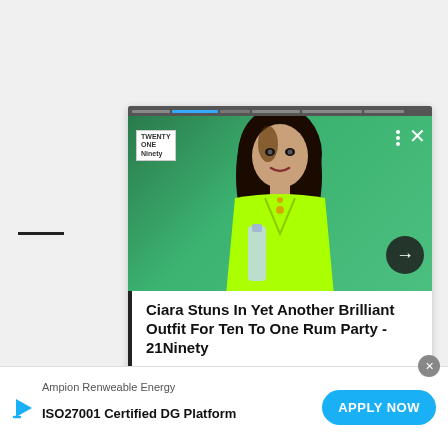[Figure (screenshot): A woman (Ciara) wearing a bright neon green outfit, holding a bottle, posed against a green background. Shown in a web article card with progress bar at top, logo overlay, menu dots, close X button, and arrow navigation button.]
Ciara Stuns In Yet Another Brilliant Outfit For Ten To One Rum Party - 21Ninety
[Figure (screenshot): Bottom advertisement bar for Ampion Renweable Energy - ISO27001 Certified DG Platform with an APPLY NOW button in blue.]